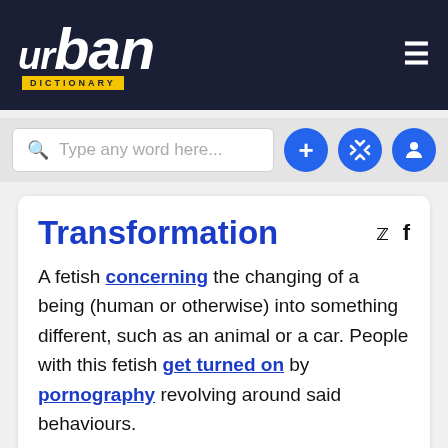urban DICTIONARY
Type any word here...
Transformation
A fetish concerning the changing of a being (human or otherwise) into something different, such as an animal or a car. People with this fetish get turned on by pornography revolving around said behaviours.